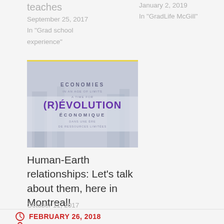teaches
September 25, 2017
In "Grad school experience"
January 2, 2019
In "GradLife McGill"
[Figure (illustration): Book/event poster showing text: ECONOMIES IN AN AGE OF LIMITS A TIME FOR (R)ÉVOLUTION ÉCONOMIQUE DANS UNE ÈRE DE RESSOURCES LIMITÉES, with building imagery in background]
Human-Earth relationships: Let's talk about them, here in Montreal!
October 11, 2017
In "Grad school experience"
FEBRUARY 26, 2018
ALICE IN THE ANTHROPOCENE